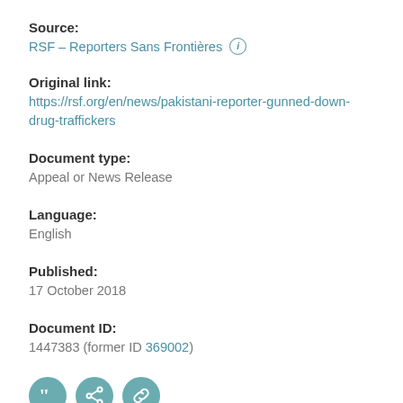Source:
RSF – Reporters Sans Frontières
Original link:
https://rsf.org/en/news/pakistani-reporter-gunned-down-drug-traffickers
Document type:
Appeal or News Release
Language:
English
Published:
17 October 2018
Document ID:
1447383 (former ID 369002)